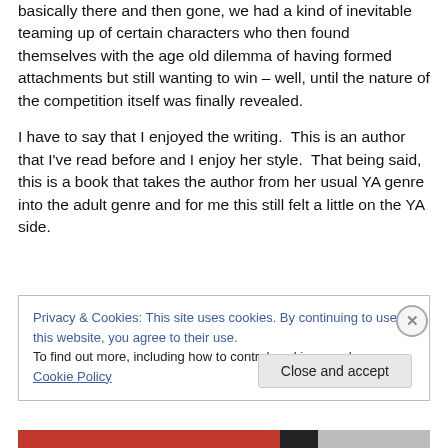basically there and then gone, we had a kind of inevitable teaming up of certain characters who then found themselves with the age old dilemma of having formed attachments but still wanting to win – well, until the nature of the competition itself was finally revealed.
I have to say that I enjoyed the writing.  This is an author that I've read before and I enjoy her style.  That being said, this is a book that takes the author from her usual YA genre into the adult genre and for me this still felt a little on the YA side.
Privacy & Cookies: This site uses cookies. By continuing to use this website, you agree to their use.
To find out more, including how to control cookies, see here: Cookie Policy